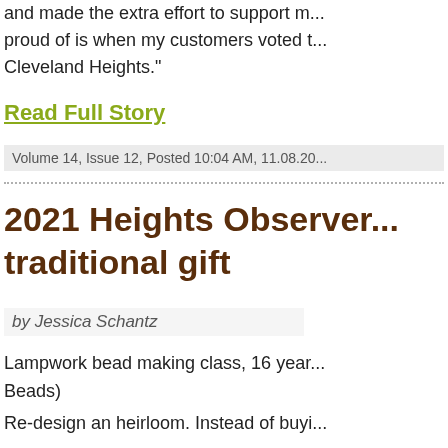and made the extra effort to support m... proud of is when my customers voted t... Cleveland Heights."
Read Full Story
Volume 14, Issue 12, Posted 10:04 AM, 11.08.20...
2021 Heights Observer... traditional gift
by Jessica Schantz
Lampwork bead making class, 16 year... Beads)
Re-design an heirloom. Instead of buyi... something old. Re-imagine your grand... piece. ($15.00 and up, Cleveland Rock...
French macaron. ($2.00 each, Luna Ba...
Cheese board. Serves 6-8 people. Incl... jam, mustard, and crackers. ($164.00...
26" Vintage Gerstner oak tool chest wit...